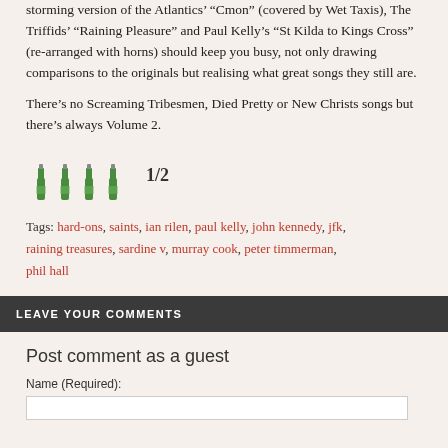storming version of the Atlantics' “Cmon” (covered by Wet Taxis), The Triffids’ “Raining Pleasure” and Paul Kelly’s “St Kilda to Kings Cross” (re-arranged with horns) should keep you busy, not only drawing comparisons to the originals but realising what great songs they still are.
There’s no Screaming Tribesmen, Died Pretty or New Christs songs but there’s always Volume 2.
[Figure (illustration): Four green beer bottle icons followed by rating text '1/2']
Tags: hard-ons, saints, ian rilen, paul kelly, john kennedy, jfk, raining treasures, sardine v, murray cook, peter timmerman, phil hall
LEAVE YOUR COMMENTS
Post comment as a guest
Name (Required):